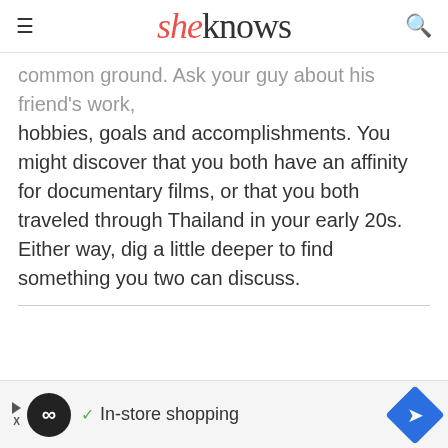sheknows
common ground. Ask your guy about his friend's work, hobbies, goals and accomplishments. You might discover that you both have an affinity for documentary films, or that you both traveled through Thailand in your early 20s. Either way, dig a little deeper to find something you two can discuss.